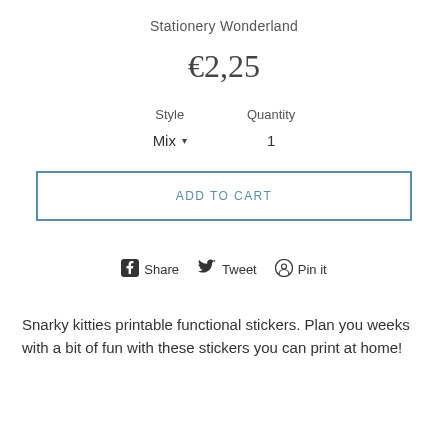Stationery Wonderland
€2,25
Style   Quantity
Mix ▾   1
ADD TO CART
Share   Tweet   Pin it
Snarky kitties printable functional stickers. Plan you weeks with a bit of fun with these stickers you can print at home!